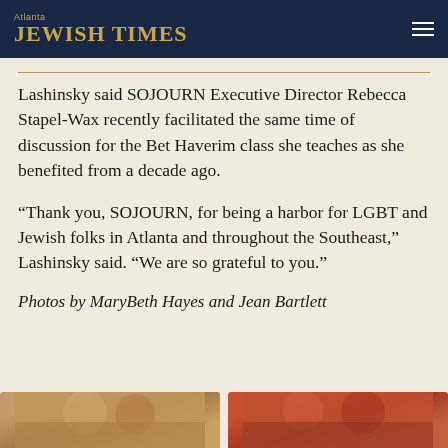Atlanta JEWISH TIMES
Lashinsky said SOJOURN Executive Director Rebecca Stapel-Wax recently facilitated the same time of discussion for the Bet Haverim class she teaches as she benefited from a decade ago.
“Thank you, SOJOURN, for being a harbor for LGBT and Jewish folks in Atlanta and throughout the Southeast,” Lashinsky said. “We are so grateful to you.”
Photos by MaryBeth Hayes and Jean Bartlett
[Figure (photo): Two photos of people at an event, partially visible at the bottom of the page.]